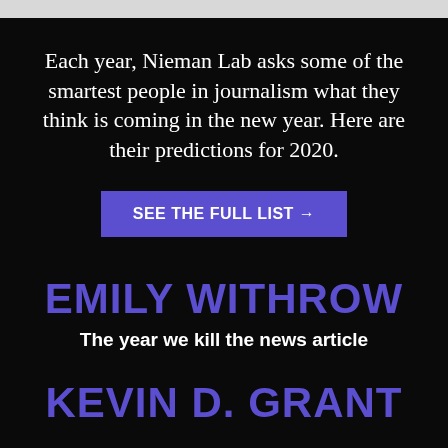Each year, Nieman Lab asks some of the smartest people in journalism what they think is coming in the new year. Here are their predictions for 2020.
SEE THE FULL LIST →
EMILY WITHROW
The year we kill the news article
KEVIN D. GRANT